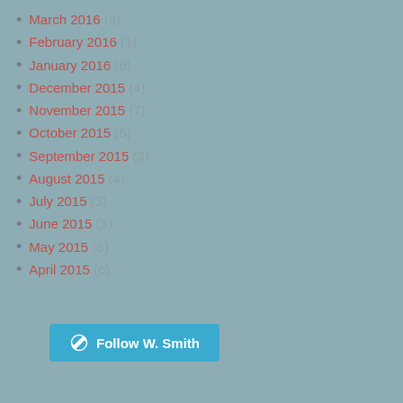March 2016 (4)
February 2016 (1)
January 2016 (6)
December 2015 (4)
November 2015 (7)
October 2015 (5)
September 2015 (3)
August 2015 (4)
July 2015 (3)
June 2015 (3)
May 2015 (6)
April 2015 (6)
Follow W. Smith